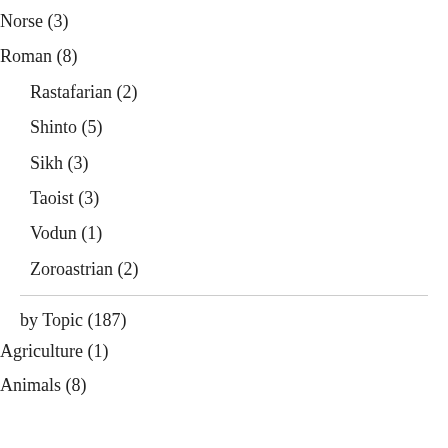Norse (3)
Roman (8)
Rastafarian (2)
Shinto (5)
Sikh (3)
Taoist (3)
Vodun (1)
Zoroastrian (2)
by Topic (187)
Agriculture (1)
Animals (8)